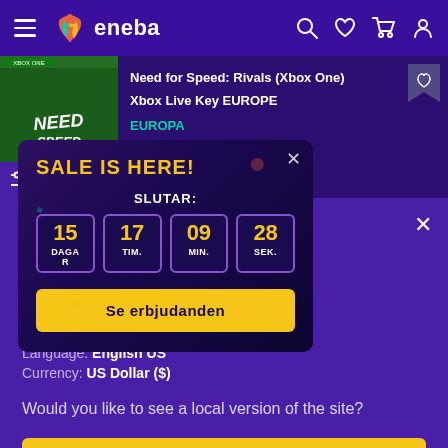[Figure (screenshot): Eneba e-commerce website screenshot showing navigation bar with logo, product listing for Need for Speed Rivals Xbox One, a sale countdown popup in Swedish, and a location/language modal overlay]
eneba
Need for Speed: Rivals (Xbox One) Xbox Live Key EUROPE
EUROPA
SALE IS HERE!
SLUTAR:
15 DAGAR  17 TIM.  09 MIN.  28 SEK.
Se erbjudanden
in
d States of ica
Language: English US
Currency: US Dollar ($)
Would you like to see a local version of the site?
Yes